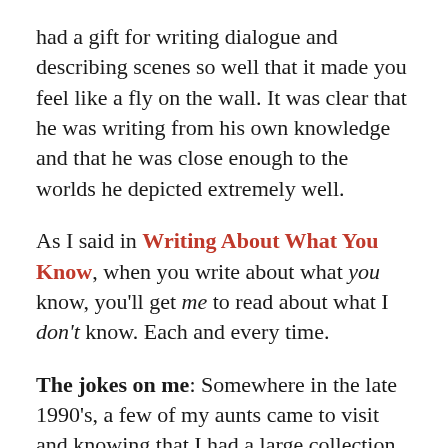had a gift for writing dialogue and describing scenes so well that it made you feel like a fly on the wall. It was clear that he was writing from his own knowledge and that he was close enough to the worlds he depicted extremely well.
As I said in Writing About What You Know, when you write about what you know, you'll get me to read about what I don't know. Each and every time.
The jokes on me: Somewhere in the late 1990's, a few of my aunts came to visit and knowing that I had a large collection of